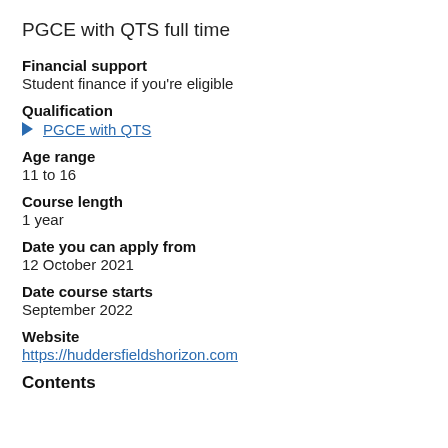PGCE with QTS full time
Financial support
Student finance if you're eligible
Qualification
PGCE with QTS
Age range
11 to 16
Course length
1 year
Date you can apply from
12 October 2021
Date course starts
September 2022
Website
https://huddersfieldhhorizon.com
Contents